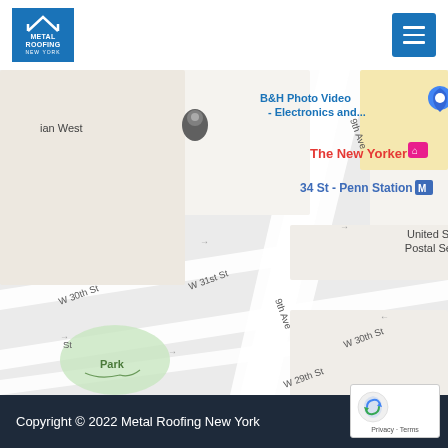[Figure (logo): Metal Roofing New York logo - blue square with white roof/chevron icon and text]
[Figure (map): Google Maps showing Manhattan area near Pennsylvania Station, including streets W 29th St, W 30th St, W 31st St, 9th Ave, 8th Ave, landmarks: The New Yorker hotel, 34 St Penn Station subway, United States Postal Service, Betz Pavilion, Pennsylvania Station, B&H Photo Video Electronics, park area]
Copyright © 2022 Metal Roofing New York